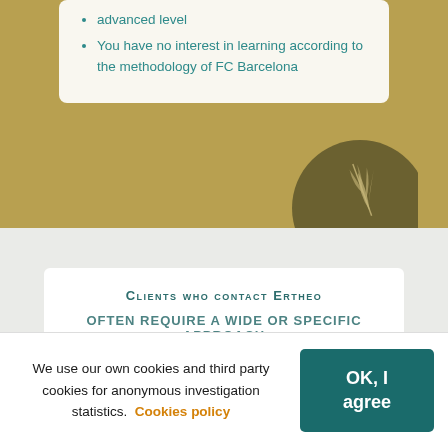advanced level
You have no interest in learning according to the methodology of FC Barcelona
[Figure (illustration): Decorative circular emblem with wheat/leaf motif on gold background]
Clients who contact Ertheo
(partially visible subtitle text below heading)
We use our own cookies and third party cookies for anonymous investigation statistics. Cookies policy